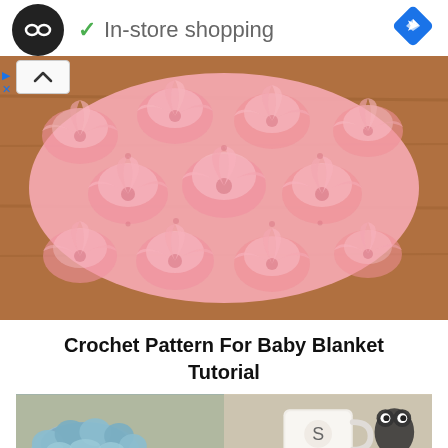[Figure (screenshot): App header bar with circular black logo with infinity-like icon, green checkmark and 'In-store shopping' text, blue diamond navigation icon on the right. Ad play and close controls on the left side.]
[Figure (photo): Pink crocheted lace baby blanket with fan/shell pattern lying on a wooden surface. A collapse/up-arrow button overlaid on the left side of the image.]
Crochet Pattern For Baby Blanket Tutorial
[Figure (photo): Bottom partial image showing a blue fluffy crocheted item on the left and a white mug with a cartoon animal design on the right, on a neutral background.]